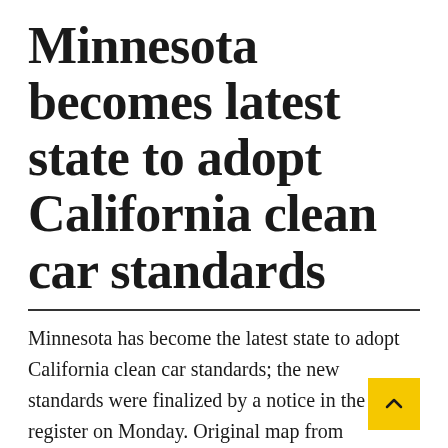Minnesota becomes latest state to adopt California clean car standards
Minnesota has become the latest state to adopt California clean car standards; the new standards were finalized by a notice in the state register on Monday. Original map from Minnesota